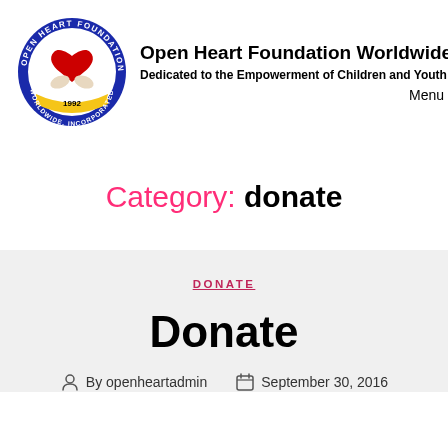[Figure (logo): Open Heart Foundation Worldwide Incorporated circular logo with blue border, red heart held by two hands, and '1992' at bottom. Yellow and blue text around the circle reads 'OPEN HEART FOUNDATION WORLDWIDE, INCORPORATED'.]
Open Heart Foundation Worldwide In
Dedicated to the Empowerment of Children and Youth
Menu
Category: donate
DONATE
Donate
By openheartadmin   September 30, 2016